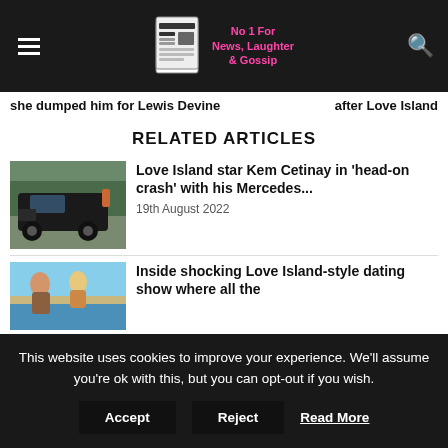Hut Of A Riot — No 1 For News, Laughter & Gossip
she dumped him for Lewis Devine
after Love Island
RELATED ARTICLES
[Figure (photo): Dark SUV/Mercedes vehicle on street]
Love Island star Kem Cetinay in 'head-on crash' with his Mercedes...
19th August 2022
[Figure (photo): Two people outdoors near water]
Inside shocking Love Island-style dating show where all the
This website uses cookies to improve your experience. We'll assume you're ok with this, but you can opt-out if you wish.